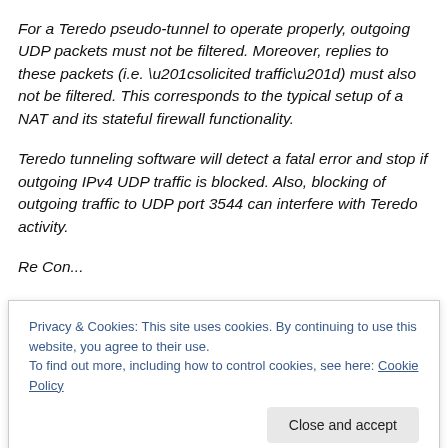For a Teredo pseudo-tunnel to operate properly, outgoing UDP packets must not be filtered. Moreover, replies to these packets (i.e. “solicited traffic”) must also not be filtered. This corresponds to the typical setup of a NAT and its stateful firewall functionality.
Teredo tunneling software will detect a fatal error and stop if outgoing IPv4 UDP traffic is blocked. Also, blocking of outgoing traffic to UDP port 3544 can interfere with Teredo activity.
Privacy & Cookies: This site uses cookies. By continuing to use this website, you agree to their use.
To find out more, including how to control cookies, see here: Cookie Policy
prevent.